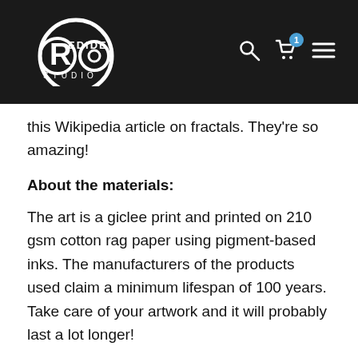[Figure (logo): Redideo Studio logo — white circular badge with stylized R and O letters and 'STUDIO' text beneath, on black background]
this Wikipedia article on fractals. They're so amazing!
About the materials:
The art is a giclee print and printed on 210 gsm cotton rag paper using pigment-based inks. The manufacturers of the products used claim a minimum lifespan of 100 years. Take care of your artwork and it will probably last a lot longer!
What is a giclee print?